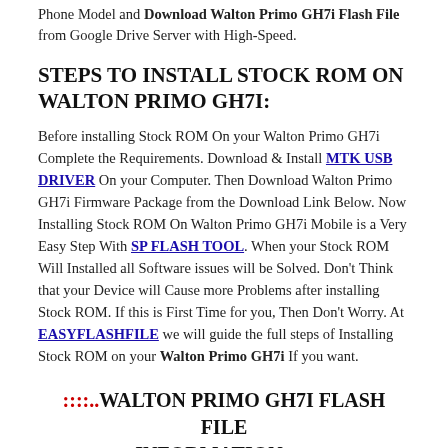Phone Model and Download Walton Primo GH7i Flash File from Google Drive Server with High-Speed.
STEPS TO INSTALL STOCK ROM ON WALTON PRIMO GH7I:
Before installing Stock ROM On your Walton Primo GH7i Complete the Requirements. Download & Install MTK USB DRIVER On your Computer. Then Download Walton Primo GH7i Firmware Package from the Download Link Below. Now Installing Stock ROM On Walton Primo GH7i Mobile is a Very Easy Step With SP FLASH TOOL. When your Stock ROM Will Installed all Software issues will be Solved. Don't Think that your Device will Cause more Problems after installing Stock ROM. If this is First Time for you, Then Don't Worry. At EASYFLASHFILE we will guide the full steps of Installing Stock ROM on your Walton Primo GH7i If you want.
::::..WALTON PRIMO GH7I FLASH FILE INFORMATION..:::::